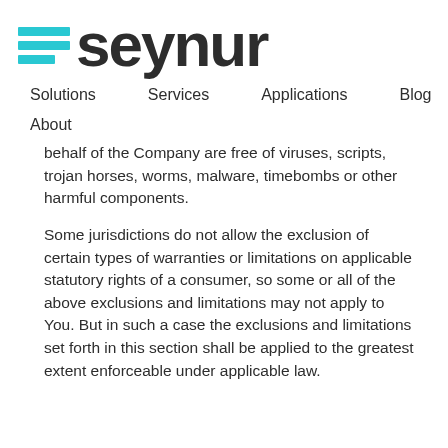[Figure (logo): Seynur logo with cyan horizontal bars and dark text]
Solutions   Services   Applications   Blog
About
behalf of the Company are free of viruses, scripts, trojan horses, worms, malware, timebombs or other harmful components.
Some jurisdictions do not allow the exclusion of certain types of warranties or limitations on applicable statutory rights of a consumer, so some or all of the above exclusions and limitations may not apply to You. But in such a case the exclusions and limitations set forth in this section shall be applied to the greatest extent enforceable under applicable law.